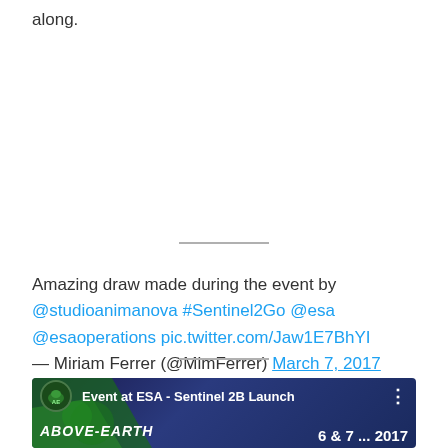along.
Amazing draw made during the event by @studioanimanova #Sentinel2Go @esa @esaoperations pic.twitter.com/Jaw1E7BhYI
— Miriam Ferrer (@MimFerrer) March 7, 2017
[Figure (screenshot): Embedded video thumbnail for 'Event at ESA - Sentinel 2B Launch' showing 'ABOVE-EARTH' branding with date '6 & 7 ... 2017' on a dark blue/purple background with green earth imagery.]